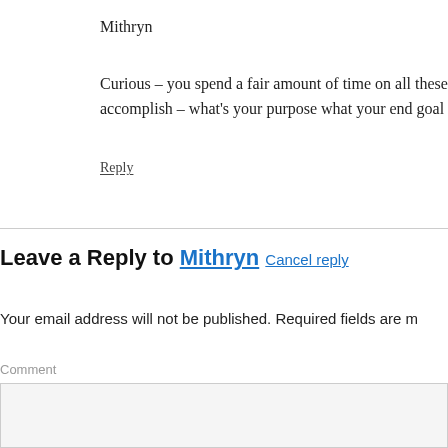Mithryn
Curious – you spend a fair amount of time on all these accomplish – what's your purpose what your end goal
Reply
Leave a Reply to Mithryn Cancel reply
Your email address will not be published. Required fields are m
Comment